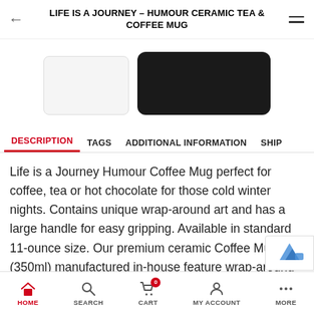LIFE IS A JOURNEY – HUMOUR CERAMIC TEA & COFFEE MUG
[Figure (photo): Product image strip showing two mug thumbnails: a white ceramic mug thumbnail on the left and a dark/black mug on the right]
DESCRIPTION | TAGS | ADDITIONAL INFORMATION | SHIP
Life is a Journey Humour Coffee Mug perfect for coffee, tea or hot chocolate for those cold winter nights. Contains unique wrap-around art and has a large handle for easy gripping. Available in standard 11-ounce size. Our premium ceramic Coffee Mug (350ml) manufactured in-house feature wrap-around art and large handles for easy gripping. This mug allows f comfortable sipping and slo free use, at home o the ffice. This will definital your favourite
HOME  SEARCH  CART  MY ACCOUNT  MORE